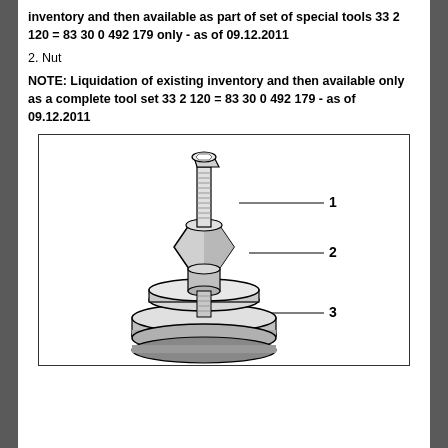inventory and then available as part of set of special tools 33 2 120 = 83 30 0 492 179 only - as of 09.12.2011
2. Nut
NOTE: Liquidation of existing inventory and then available only as a complete tool set 33 2 120 = 83 30 0 492 179 - as of 09.12.2011
[Figure (engineering-diagram): Technical illustration of a multi-part tool assembly showing three labeled components: 1 - threaded bolt/stud at top, 2 - hexagonal nut/body in middle, 3 - circular base/disc at bottom. The assembly appears to be a special tool for automotive or mechanical use.]